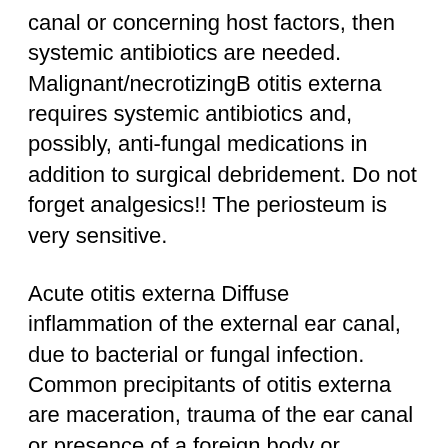canal or concerning host factors, then systemic antibiotics are needed. Malignant/necrotizingB otitis externa requires systemic antibiotics and, possibly, anti-fungal medications in addition to surgical debridement. Do not forget analgesics!! The periosteum is very sensitive.
Acute otitis externa Diffuse inflammation of the external ear canal, due to bacterial or fungal infection. Common precipitants of otitis externa are maceration, trauma of the ear canal or presence of a foreign body or dermatologic diseases (such as eczema, psoriasis). May 01, 2011B B· Treatment of malignant otitis externa and skull